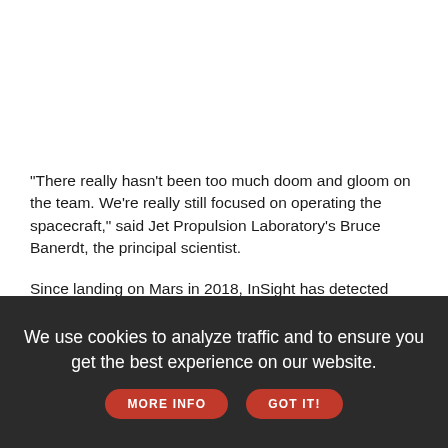"There really hasn't been too much doom and gloom on the team. We're really still focused on operating the spacecraft," said Jet Propulsion Laboratory's Bruce Banerdt, the principal scientist.
Since landing on Mars in 2018, InSight has detected more than 1,300 marsquakes; the biggest one, a magnitude 5, occurred two weeks ago.
We use cookies to analyze traffic and to ensure you get the best experience on our website. MORE INFO GOT IT!